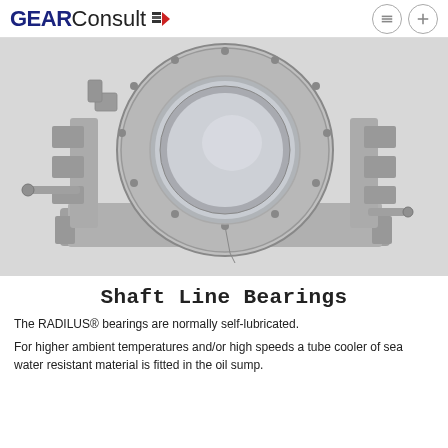GEARConsult
[Figure (photo): 3D rendering of a RADILUS shaft line bearing housing — a large circular bore framed in a heavy cast metal housing with mounting flanges, bolts, and fittings, shown in grey metallic finish on a light grey background.]
Shaft Line Bearings
The RADILUS® bearings are normally self-lubricated.
For higher ambient temperatures and/or high speeds a tube cooler of sea water resistant material is fitted in the oil sump.